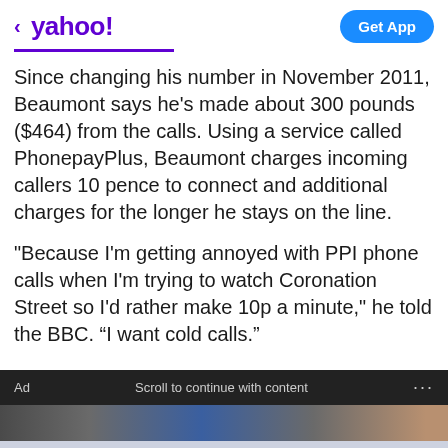< yahoo! | Get App
Since changing his number in November 2011, Beaumont says he's made about 300 pounds ($464) from the calls. Using a service called PhonepayPlus, Beaumont charges incoming callers 10 pence to connect and additional charges for the longer he stays on the line.
"Because I'm getting annoyed with PPI phone calls when I'm trying to watch Coronation Street so I'd rather make 10p a minute," he told the BBC. “I want cold calls.”
Ad   Scroll to continue with content   ...
[Figure (photo): Ad image strip showing partial photograph]
GSK
Getting Set for a Healthy Summer